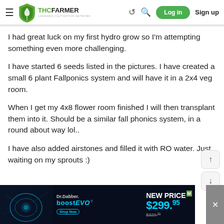THCFarmer - Cannabis Cultivation Network - Log in - Sign up
I had great luck on my first hydro grow so I'm attempting something even more challenging.
I have started 6 seeds listed in the pictures. I have created a small 6 plant Fallponics system and will have it in a 2x4 veg room.
When I get my 4x8 flower room finished I will then transplant them into it. Should be a similar fall phonics system, in a round about way lol..
I have also added airstones and filled it with RO water. Just waiting on my sprouts :)
[Figure (screenshot): Dr.Dabber boost EVO advertisement banner with NEW PRICE $299.95 (was $329.95)]